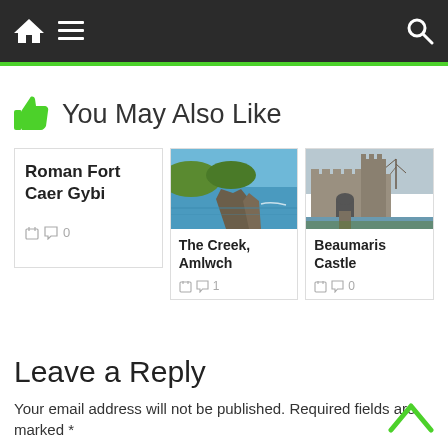Navigation bar with home, menu, and search icons
You May Also Like
[Figure (screenshot): Card for Roman Fort Caer Gybi with calendar and comment icons showing 0 comments]
[Figure (photo): Photo of The Creek, Amlwch - coastal scene with rocky outcrop and blue sea]
The Creek, Amlwch
[Figure (photo): Photo of Beaumaris Castle - stone castle with moat and bare trees]
Beaumaris Castle
Leave a Reply
Your email address will not be published. Required fields are marked *